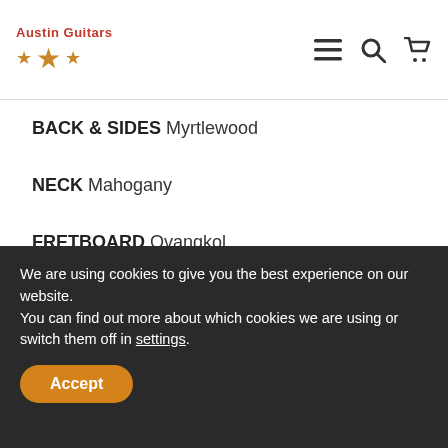Austin Guitars
BACK & SIDES Myrtlewood
NECK Mahogany
FRETBOARD Ovangkol
FRETS 20
SCALE 25.3" (643㎜)
We are using cookies to give you the best experience on our website.
You can find out more about which cookies we are using or switch them off in settings.
Accept